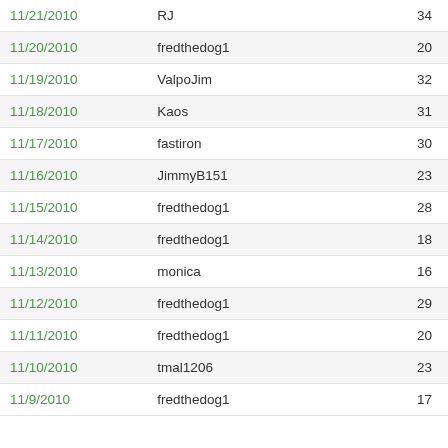| 11/21/2010 | RJ | 34 |
| 11/20/2010 | fredthedog1 | 20 |
| 11/19/2010 | ValpoJim | 32 |
| 11/18/2010 | Kaos | 31 |
| 11/17/2010 | fastiron | 30 |
| 11/16/2010 | JimmyB151 | 23 |
| 11/15/2010 | fredthedog1 | 28 |
| 11/14/2010 | fredthedog1 | 18 |
| 11/13/2010 | monica | 16 |
| 11/12/2010 | fredthedog1 | 29 |
| 11/11/2010 | fredthedog1 | 20 |
| 11/10/2010 | tmal1206 | 23 |
| 11/9/2010 | fredthedog1 | 17 |